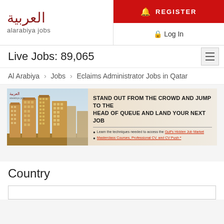[Figure (logo): Al Arabiya Jobs logo with Arabic text and brand name]
REGISTER
Log In
Live Jobs: 89,065
Al Arabiya > Jobs > Eclaims Administrator Jobs in Qatar
[Figure (illustration): Banner ad: Stand out from the crowd and jump to the head of queue and land your next job. Building skyline image on left. Bullet points about Gulf's Hidden Job Market and Masterclass Courses.]
Country